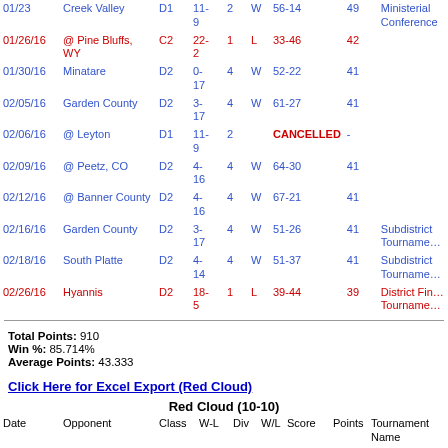| Date | Opponent | Class | W-L | Div | W/L | Score | Points | Tournament Name |
| --- | --- | --- | --- | --- | --- | --- | --- | --- |
| 01/23 | Creek Valley | D1 | 11-9 | 2 | W | 56-14 | 49 | Ministerial Conference |
| 01/26/16 | @ Pine Bluffs, WY | C2 | 22-2 | 1 | L | 33-46 | 42 |  |
| 01/30/16 | Minatare | D2 | 0-17 | 4 | W | 52-22 | 41 |  |
| 02/05/16 | Garden County | D2 | 3-17 | 4 | W | 61-27 | 41 |  |
| 02/06/16 | @ Leyton | D1 | 11-9 | 2 |  | CANCELLED | - |  |
| 02/09/16 | @ Peetz, CO | D2 | 4-16 | 4 | W | 64-30 | 41 |  |
| 02/12/16 | @ Banner County | D2 | 4-16 | 4 | W | 67-21 | 41 |  |
| 02/16/16 | Garden County | D2 | 3-17 | 4 | W | 51-26 | 41 | Subdistrict Tournament |
| 02/18/16 | South Platte | D2 | 4-14 | 4 | W | 51-37 | 41 | Subdistrict Tournament |
| 02/26/16 | Hyannis | D2 | 18-5 | 1 | L | 39-44 | 39 | District Finals Tournament |
Total Points: 910
Win %: 85.714%
Average Points: 43.333
Click Here for Excel Export (Red Cloud)
Red Cloud (10-10)
| Date | Opponent | Class | W-L | Div | W/L | Score | Points | Tournament Name |
| --- | --- | --- | --- | --- | --- | --- | --- | --- |